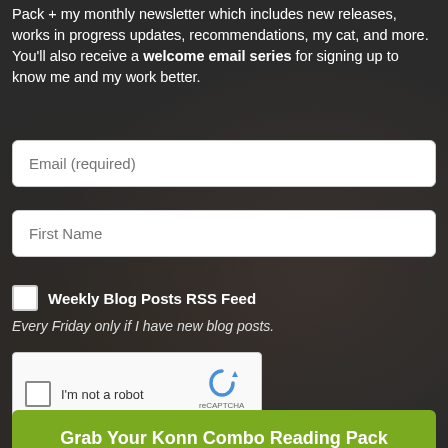Pack + my monthly newsletter which includes new releases, works in progress updates, recommendations, my cat, and more. You'll also receive a welcome email series for signing up to know me and my work better.
[Figure (screenshot): Email input field with placeholder text 'Email (required)']
[Figure (screenshot): First Name input field with placeholder text 'First Name']
Weekly Blog Posts RSS Feed
Every Friday only if I have new blog posts.
[Figure (screenshot): reCAPTCHA widget with checkbox 'I'm not a robot']
Grab Your Konn Combo Reading Pack